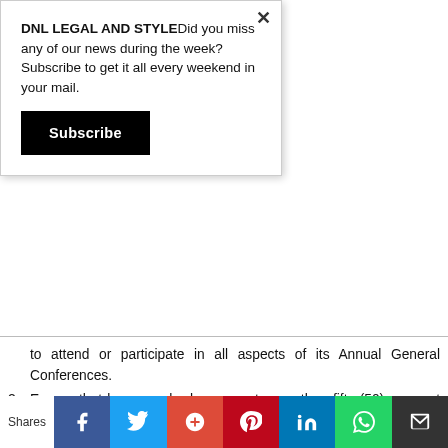DNL LEGAL AND STYLEDid you miss any of our news during the week? Subscribe to get it all every weekend in your mail.
Subscribe
to attend or participate in all aspects of its Annual General Conferences.
2. Ensure that lawyers who have spent more than fifty (50) years at the Bar are exempted from paying to attend any NBA organized events including the Annual General Conferences.
3. Ensure that young lawyers participate in all NBA sections and fora organized events at no fee.
4. Ensure that for gender comprehensiveness not less than twenty female lawyers are Co-opted into the National